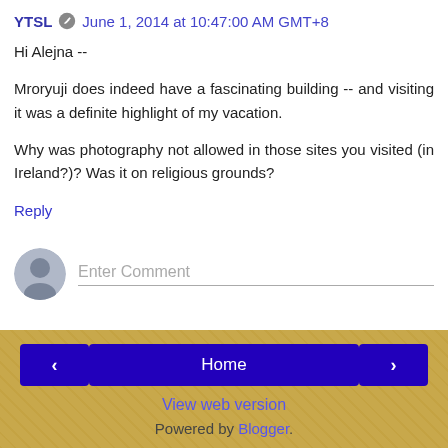YTSL  June 1, 2014 at 10:47:00 AM GMT+8
Hi Alejna --
Mroryuji does indeed have a fascinating building -- and visiting it was a definite highlight of my vacation.
Why was photography not allowed in those sites you visited (in Ireland?)? Was it on religious grounds?
Reply
[Figure (other): Comment input area with generic user avatar icon and 'Enter Comment' placeholder text field]
< Home > View web version Powered by Blogger.